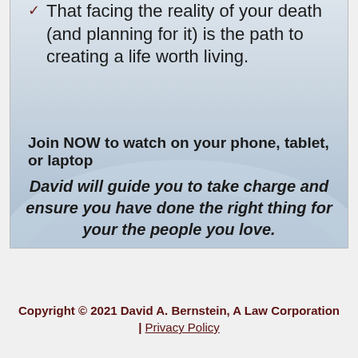That facing the reality of your death (and planning for it) is the path to creating a life worth living.
Join NOW to watch on your phone, tablet, or laptop
David will guide you to take charge and ensure you have done the right thing for your the people you love.
Copyright © 2021 David A. Bernstein, A Law Corporation | Privacy Policy